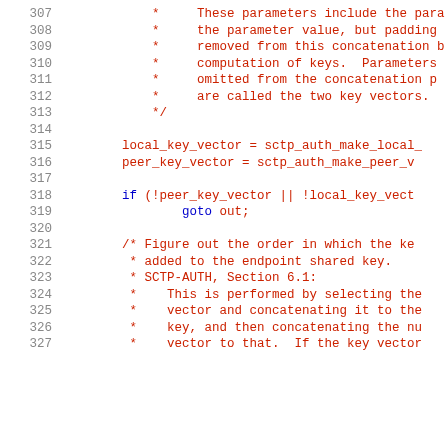[Figure (screenshot): Source code listing showing C code lines 307-327, with line numbers in gray on the left and code in red/dark red monospace font. Lines 307-313 are block comments, 315-316 are assignments, 318-319 are an if statement with goto, 321-327 are block comments.]